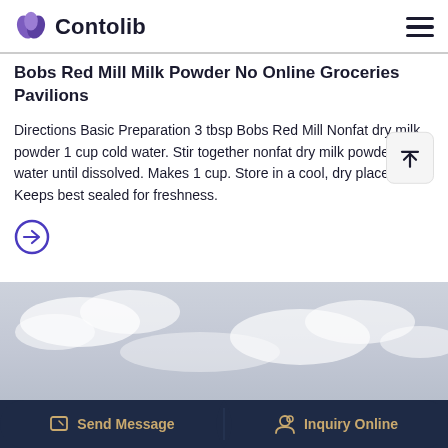Contolib
Bobs Red Mill Milk Powder No Online Groceries Pavilions
Directions Basic Preparation 3 tbsp Bobs Red Mill Nonfat dry milk powder 1 cup cold water. Stir together nonfat dry milk powder and water until dissolved. Makes 1 cup. Store in a cool, dry place. Keeps best sealed for freshness.
[Figure (photo): Sky with clouds, light grey-blue background]
Send Message | Inquiry Online